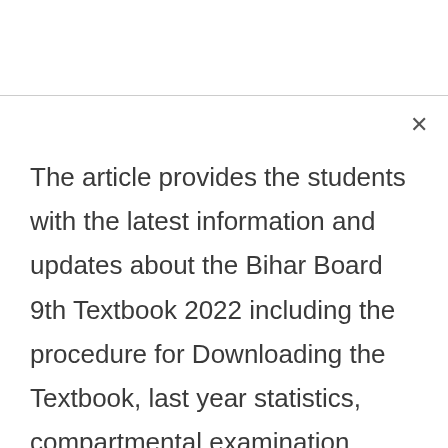The article provides the students with the latest information and updates about the Bihar Board 9th Textbook 2022 including the procedure for Downloading the Textbook, last year statistics, compartmental examination, Downloading and reevaluation process.